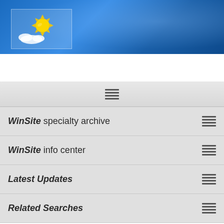[Figure (screenshot): WinSite website header banner with blue gradient background and sun logo in white box]
[Figure (other): Gray menu bar with hamburger lines icon centered]
WinSite specialty archive
WinSite info center
Latest Updates
Related Searches
Home ▶ Business ▶ Word Processing
PDF Watermark v.1.1.0